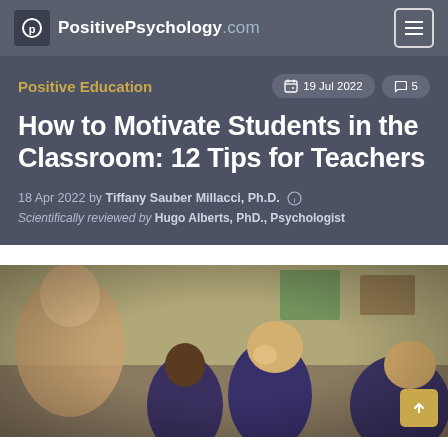PositivePsychology.com
Positive Education
19 Jul 2022   5
How to Motivate Students in the Classroom: 12 Tips for Teachers
18 Apr 2022 by Tiffany Sauber Millacci, Ph.D.
Scientifically reviewed by Hugo Alberts, PhD., Psychologist
[Figure (photo): Classroom scene showing a teacher and young students (boys in school uniforms) engaged in discussion, taken from a low angle with warm lighting]